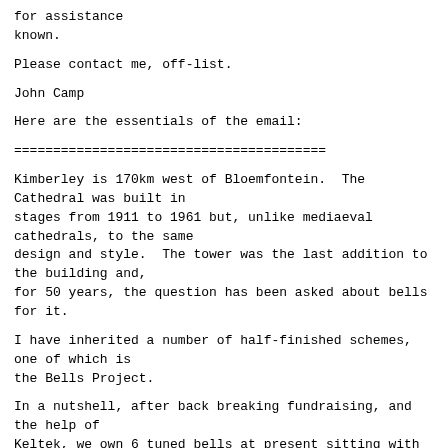for assistance
known.
Please contact me, off-list.
John Camp
Here are the essentials of the email:
========================================
Kimberley is 170km west of Bloemfontein.  The Cathedral was built in
stages from 1911 to 1961 but, unlike mediaeval cathedrals, to the same
design and style.  The tower was the last addition to the building and,
for 50 years, the question has been asked about bells for it.
I have inherited a number of half-finished schemes, one of which is
the Bells Project.
In a nutshell, after back breaking fundraising, and the help of
Keltek, we own 6 tuned bells at present sitting with Taylors and
formerly hanging in St Helen, Abingdon.